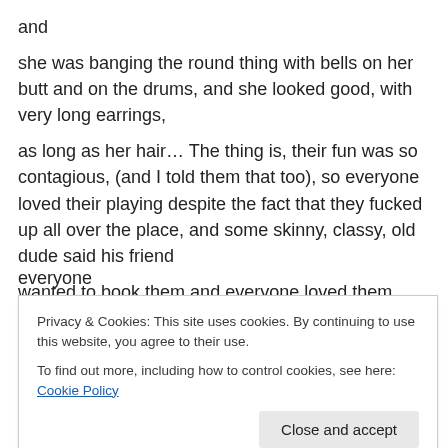and
she was banging the round thing with bells on her butt and on the drums, and she looked good, with very long earrings,
as long as her hair… The thing is, their fun was so contagious, (and I told them that too), so everyone loved their playing despite the fact that they fucked up all over the place, and some skinny, classy, old dude said his friend
wanted to book them and everyone loved them. And
everyone
Privacy & Cookies: This site uses cookies. By continuing to use this website, you agree to their use.
To find out more, including how to control cookies, see here: Cookie Policy
and